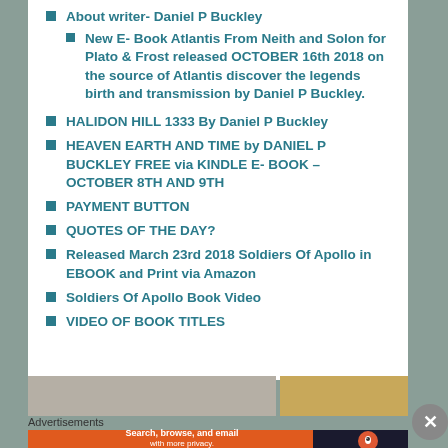About writer- Daniel P Buckley
New E- Book Atlantis From Neith and Solon for Plato & Frost released OCTOBER 16th 2018 on the source of Atlantis discover the legends birth and transmission by Daniel P Buckley.
HALIDON HILL 1333 By Daniel P Buckley
HEAVEN EARTH AND TIME by DANIEL P BUCKLEY FREE via KINDLE E- BOOK – OCTOBER 8TH AND 9TH
PAYMENT BUTTON
QUOTES OF THE DAY?
Released March 23rd 2018 Soldiers Of Apollo in EBOOK and Print via Amazon
Soldiers Of Apollo Book Video
VIDEO OF BOOK TITLES
[Figure (photo): Two images partially visible at bottom: an archway/building detail on left and a portrait photo on right]
Advertisements
[Figure (infographic): DuckDuckGo advertisement banner: Search, browse, and email with more privacy. All in One Free App. Orange and dark background with DuckDuckGo logo.]